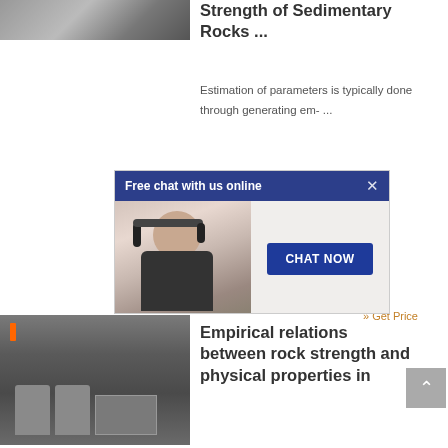[Figure (photo): Partial view of industrial or laboratory equipment, top portion cut off]
Strength of Sedimentary Rocks ...
Estimation of parameters is typically done through generating em- ...
s of ned al.
More details
» Get Price
[Figure (photo): Laboratory equipment showing cylindrical metal tanks/containers with tubing]
Empirical relations between rock strength and physical properties in
[Figure (photo): Chat popup overlay showing a customer service representative wearing a headset with 'Free chat with us online' header and 'CHAT NOW' button]